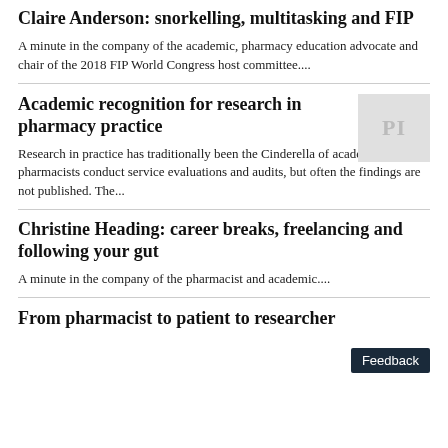Claire Anderson: snorkelling, multitasking and FIP
A minute in the company of the academic, pharmacy education advocate and chair of the 2018 FIP World Congress host committee....
Academic recognition for research in pharmacy practice
[Figure (other): Grey placeholder thumbnail with letters PI]
Research in practice has traditionally been the Cinderella of academia. Many pharmacists conduct service evaluations and audits, but often the findings are not published. The...
Christine Heading: career breaks, freelancing and following your gut
A minute in the company of the pharmacist and academic....
From pharmacist to patient to researcher